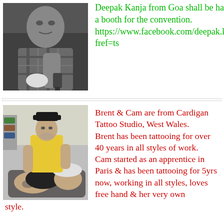[Figure (photo): Black and white photo of Deepak Kanja tattooing, close-up of person concentrating on work]
Deepak Kanja from Goa shall be having a booth for the convention.
https://www.facebook.com/deepak.kanja?fref=ts
[Figure (photo): Color photo of Brent tattooing a person lying back in a tattoo chair, Brent wearing yellow shirt and black hat]
Brent & Cam are from Cardigan Tattoo Studio, West Wales.
Brent has been tattooing for over 40 years in all styles of work.
Cam started as an apprentice in Paris & has been tattooing for 5yrs now, working in all styles, loves free hand & her very own style.